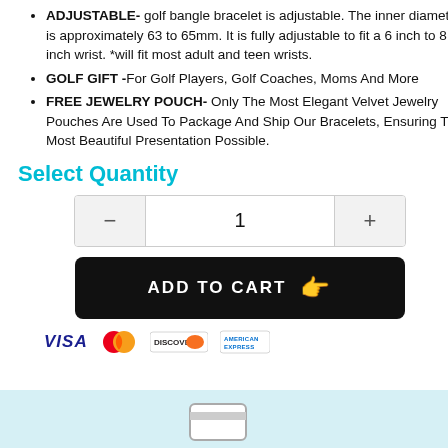ADJUSTABLE- golf bangle bracelet is adjustable. The inner diameter is approximately 63 to 65mm. It is fully adjustable to fit a 6 inch to 8.5 inch wrist. *will fit most adult and teen wrists.
GOLF GIFT -For Golf Players, Golf Coaches, Moms And More
FREE JEWELRY POUCH- Only The Most Elegant Velvet Jewelry Pouches Are Used To Package And Ship Our Bracelets, Ensuring The Most Beautiful Presentation Possible.
Select Quantity
[Figure (other): Quantity selector with minus button, value 1, and plus button]
[Figure (other): ADD TO CART button with pointing hand emoji]
[Figure (other): Payment icons: Visa, Mastercard, Discover, American Express]
[Figure (other): Light blue banner at bottom with card icon]